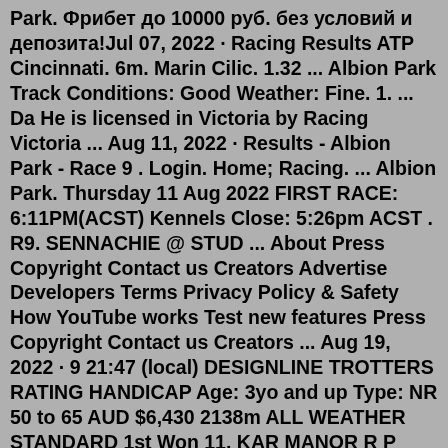Park. Фрибет до 10000 руб. без условий и депозита!Jul 07, 2022 · Racing Results ATP Cincinnati. 6m. Marin Cilic. 1.32 ... Albion Park Track Conditions: Good Weather: Fine. 1. ... Da He is licensed in Victoria by Racing Victoria ... Aug 11, 2022 · Results - Albion Park - Race 9 . Login. Home; Racing. ... Albion Park. Thursday 11 Aug 2022 FIRST RACE: 6:11PM(ACST) Kennels Close: 5:26pm ACST . R9. SENNACHIE @ STUD ... About Press Copyright Contact us Creators Advertise Developers Terms Privacy Policy & Safety How YouTube works Test new features Press Copyright Contact us Creators ... Aug 19, 2022 · 9 21:47 (local) DESIGNLINE TROTTERS RATING HANDICAP Age: 3yo and up Type: NR 50 to 65 AUD $6,430 2138m ALL WEATHER STANDARD 1st Won 11. KAR MANOR R P BUTT T G BUTT SP: $7.00 2nd 2.8m 6. IM THE COMMANDO G W DIXON G W DIXON SP: $26.00 3rd 3.8m 9. RIGONDEAUX N M DAWSON G F DWYER SP: $13.00 Log in to view full results Something went wrong! Nov 16, 2017 · Race 4